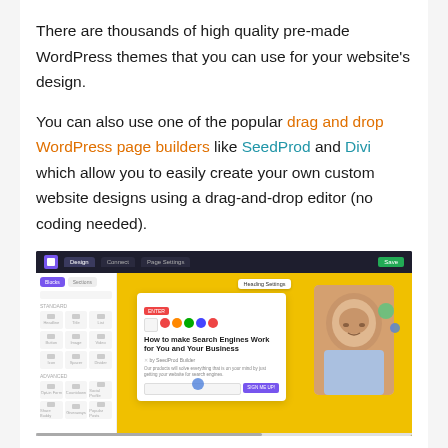There are thousands of high quality pre-made WordPress themes that you can use for your website's design.
You can also use one of the popular drag and drop WordPress page builders like SeedProd and Divi which allow you to easily create your own custom website designs using a drag-and-drop editor (no coding needed).
[Figure (screenshot): Screenshot of a WordPress page builder (SeedProd) interface, showing a dark top navigation bar with Design, Connect, and Page Settings tabs, a white sidebar with block elements, and a yellow canvas displaying a landing page with a card containing the headline 'How to make Search Engines Work for You and Your Business', a form, and a photo of a young man.]